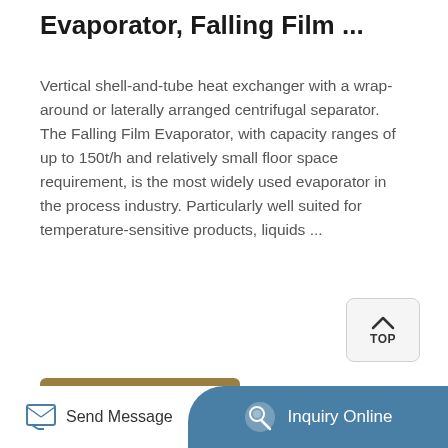Evaporator, Falling Film ...
Vertical shell-and-tube heat exchanger with a wrap-around or laterally arranged centrifugal separator. The Falling Film Evaporator, with capacity ranges of up to 150t/h and relatively small floor space requirement, is the most widely used evaporator in the process industry. Particularly well suited for temperature-sensitive products, liquids ...
[Figure (other): TOP navigation button with upward chevron arrow]
[Figure (other): Learn More call-to-action button in olive/gold color]
[Figure (photo): Photo of stainless steel pipe fittings and tube components for industrial evaporator equipment]
[Figure (other): Bottom bar with Send Message icon and Inquiry Online button in teal/blue]